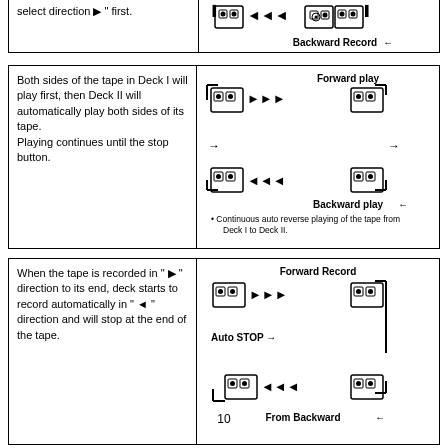select direction ▶ " first.
[Figure (illustration): Backward Record arrow diagram with tape deck icons]
Both sides of the tape in Deck I will play first, then Deck II will automatically play both sides of its tape.
Playing continues until the stop button.
[Figure (illustration): Forward play and Backward play circular diagram with tape deck icons and bullet note: Continuous auto reverse playing of the tape from Deck I to Deck II.]
When the tape is recorded in " ▶ " direction to its end, deck starts to record automatically in " ◀ " direction and will stop at the end of the tape.
[Figure (illustration): Forward Record and From Backward diagram with Auto STOP arrow and tape deck icons]
10